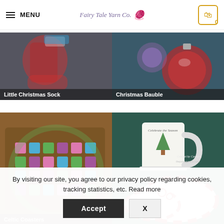MENU | Fairy Tale Yarn Co. | 0
[Figure (photo): Crochet little Christmas sock product image with dark overlay label]
Little Christmas Sock
[Figure (photo): Christmas Bauble crochet product image on teal background]
Christmas Bauble
[Figure (photo): Celtic crochet coasters in blue, pink, green, and purple on wooden surface]
Celtic Coasters
[Figure (photo): Christmas mug and candy cane striped crochet coaster with peppermints, crochet by Carolyn]
By visiting our site, you agree to our privacy policy regarding cookies, tracking statistics, etc. Read more
Accept   X